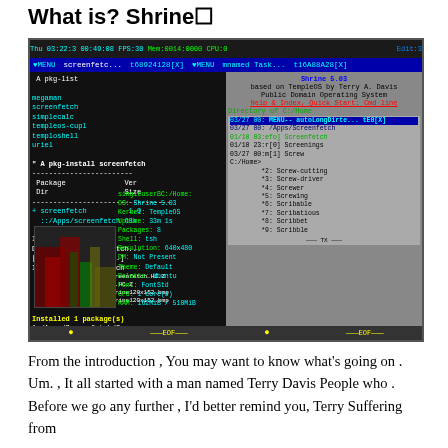What is? Shrine🔲
[Figure (screenshot): Screenshot of Shrine OS (based on TempleOS by Terry A. Davis), showing a terminal with package installation of screenfetch on the left panel, and the Shrine OS welcome screen with directory listing on the right panel. Bottom left shows screenfetch output with a shrine photo and system info: OS: Shrine 5.03, Kernel: TempleOS, Uptime: 33m 1s, Packages: 8, Shell: tsh, Resolution: 640x480, DM: Not Present, Theme: Default, Palette: Ubuntu, Font: FontStd, CPU: 1 core(s), RAM: 162MiB / 510MiB]
From the introduction , You may want to know what's going on . Um. , It all started with a man named Terry Davis People who . Before we go any further , I'd better remind you, Terry Suffering from